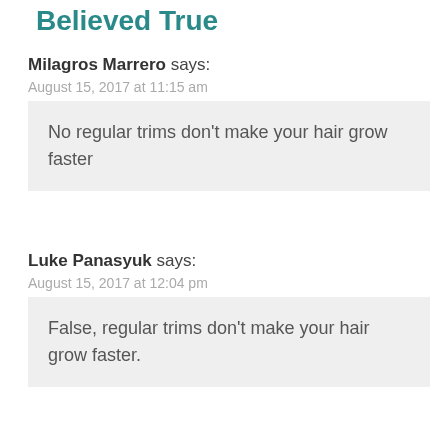Believed True
Milagros Marrero says:
August 15, 2017 at 11:15 am
No regular trims don't make your hair grow faster
Luke Panasyuk says:
August 15, 2017 at 12:04 pm
False, regular trims don't make your hair grow faster.